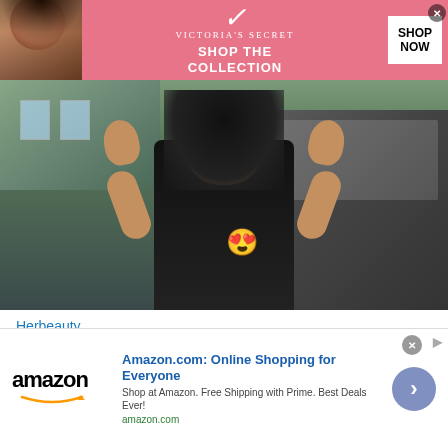[Figure (screenshot): Victoria's Secret advertisement banner with pink background showing a model, Victoria's Secret logo, 'SHOP THE COLLECTION' text, and a 'SHOP NOW' button]
[Figure (photo): A young Black woman in a black sleeveless top posing next to a dark car, smiling at camera with hands raised near her head. Heart-eyes emoji overlaid on her chest.]
Herbeauty
Destiny's Body Does Give Her Leading Lady Energy!
[Figure (screenshot): Bottom strip showing two dark thumbnail images side by side]
[Figure (screenshot): Amazon advertisement: 'Amazon.com: Online Shopping for Everyone' with tagline 'Shop at Amazon. Free Shipping with Prime. Best Deals Ever!' and amazon.com URL, Amazon logo, and blue arrow button]